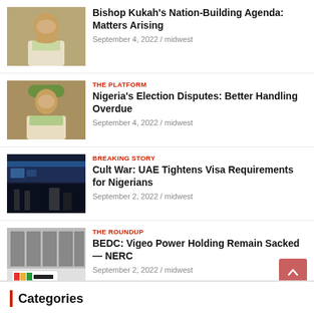[Figure (photo): Thumbnail photo of a man in traditional Nigerian attire]
Bishop Kukah's Nation-Building Agenda: Matters Arising
September 4, 2022 / midwest
[Figure (photo): Thumbnail photo of a man in traditional Nigerian attire with green hat]
THE PLATFORM
Nigeria's Election Disputes: Better Handling Overdue
September 4, 2022 / midwest
[Figure (photo): Thumbnail photo of an airport terminal interior with blue lighting]
BREAKING STORY
Cult War: UAE Tightens Visa Requirements for Nigerians
September 2, 2022 / midwest
[Figure (photo): Thumbnail photo of BEDC building with BEDC logo sign]
THE ROUNDUP
BEDC: Vigeo Power Holding Remain Sacked — NERC
September 2, 2022 / midwest
Categories